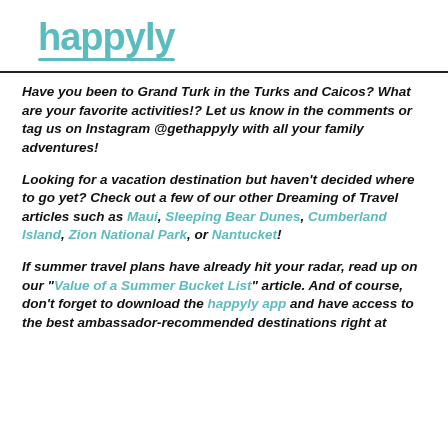[Figure (logo): happyly logo in teal with underline accent]
Have you been to Grand Turk in the Turks and Caicos? What are your favorite activities!? Let us know in the comments or tag us on Instagram @gethappyly with all your family adventures!
Looking for a vacation destination but haven't decided where to go yet? Check out a few of our other Dreaming of Travel articles such as Maui, Sleeping Bear Dunes, Cumberland Island, Zion National Park, or Nantucket!
If summer travel plans have already hit your radar, read up on our "Value of a Summer Bucket List" article. And of course, don't forget to download the happyly app and have access to the best ambassador-recommended destinations right at